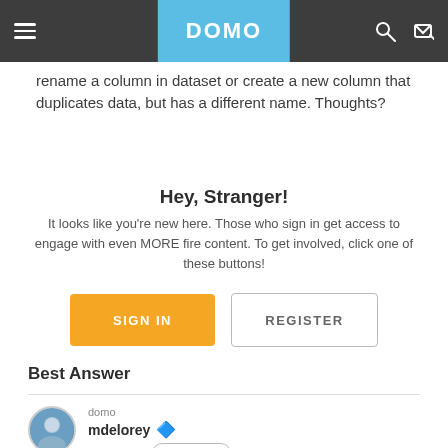DOMO navigation bar with hamburger menu, DOMO logo, search and sign-in icons
rename a column in dataset or create a new column that duplicates data, but has a different name. Thoughts?
Hey, Stranger!
It looks like you're new here. Those who sign in get access to engage with even MORE fire content. To get involved, click one of these buttons!
SIGN IN | REGISTER
Best Answer
domo
mdelorey 💎
June 2016  Answer ✓